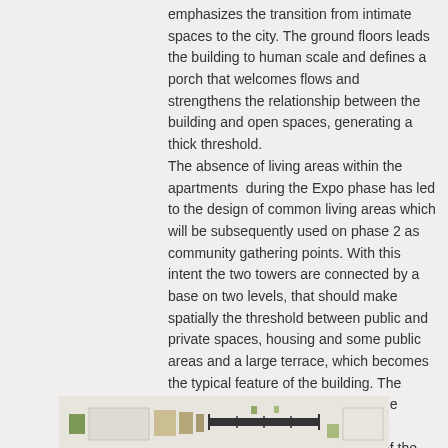emphasizes the transition from intimate spaces to the city. The ground floors leads the building to human scale and defines a porch that welcomes flows and strengthens the relationship between the building and open spaces, generating a thick threshold.
The absence of living areas within the apartments during the Expo phase has led to the design of common living areas which will be subsequently used on phase 2 as community gathering points. With this intent the two towers are connected by a base on two levels, that should make spatially the threshold between public and private spaces, housing and some public areas and a large terrace, which becomes the typical feature of the building. The terrace in quota with the space of the walkway and the paths between the common rooms are a restatement of the urban dynamic inside the building, generating a spaces of social aggregation for use by residents, a living room for the guests of the Village
[Figure (other): Architectural plan/diagram showing building layout with color-coded sections in green, yellow, and other colors with measurement indicators]